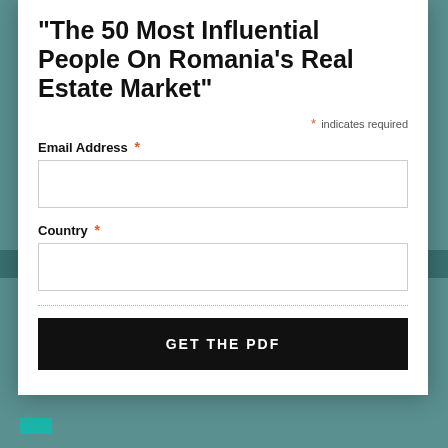“The 50 Most Influential People On Romania’s Real Estate Market”
* indicates required
Email Address *
Country *
GET THE PDF
POLAND   CZECH REPUBLIC   SLOVAKIA   HUNGARY
ROMANIA   SEE